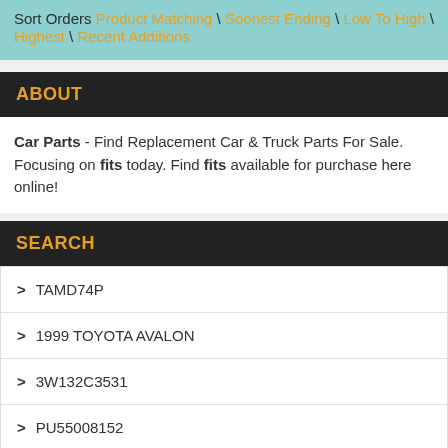Sort Orders Product Matching \ Soonest Ending \ Low To High \ Highest \ Recent Additions
ABOUT
Car Parts - Find Replacement Car & Truck Parts For Sale. Focusing on fits today. Find fits available for purchase here online!
SEARCH
> TAMD74P
> 1999 TOYOTA AVALON
> 3W132C3531
> PU55008152